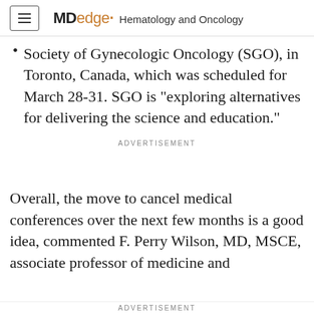MDedge Hematology and Oncology
Society of Gynecologic Oncology (SGO), in Toronto, Canada, which was scheduled for March 28-31. SGO is “exploring alternatives for delivering the science and education.”
ADVERTISEMENT
Overall, the move to cancel medical conferences over the next few months is a good idea, commented F. Perry Wilson, MD, MSCE, associate professor of medicine and
ADVERTISEMENT